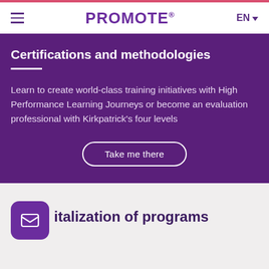PROMOTE® EN
Certifications and methodologies
Learn to create world-class training initiatives with High Performance Learning Journeys or become an evaluation professional with Kirkpatrick's four levels
Take me there
italization of programs